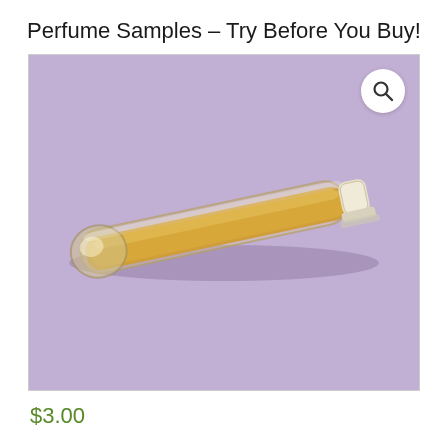Perfume Samples – Try Before You Buy!
[Figure (photo): A small glass perfume sample vial filled with golden/amber liquid, sealed with a white plastic cap, lying diagonally on a lavender/purple background.]
$3.00